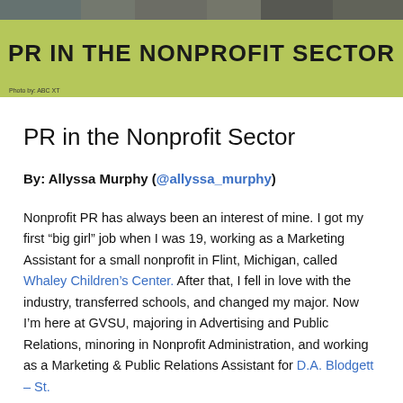[Figure (photo): Banner image with green/olive background and text 'PR IN THE NONPROFIT SECTOR'. A dark photo strip runs across the top of the banner.]
PR in the Nonprofit Sector
By: Allyssa Murphy (@allyssa_murphy)
Nonprofit PR has always been an interest of mine. I got my first “big girl” job when I was 19, working as a Marketing Assistant for a small nonprofit in Flint, Michigan, called Whaley Children’s Center. After that, I fell in love with the industry, transferred schools, and changed my major. Now I’m here at GVSU, majoring in Advertising and Public Relations, minoring in Nonprofit Administration, and working as a Marketing & Public Relations Assistant for D.A. Blodgett – St.